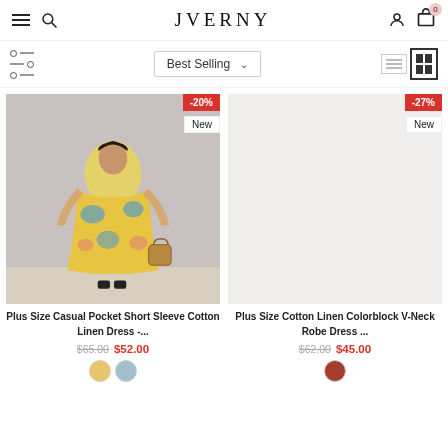JVERNY — navigation header with menu, search, logo, account, cart (0)
Best Selling (dropdown), filter icon, view toggle icons
[Figure (photo): Product photo: woman wearing a floral yellow and blue cotton linen dress, holding a woven bag. Badge: -20%, New]
Plus Size Casual Pocket Short Sleeve Cotton Linen Dress -...
$65.00  $52.00
[Figure (photo): Product photo placeholder for Plus Size Cotton Linen Colorblock V-Neck Robe Dress. Badge: -27%, New]
Plus Size Cotton Linen Colorblock V-Neck Robe Dress ...
$62.00  $45.00